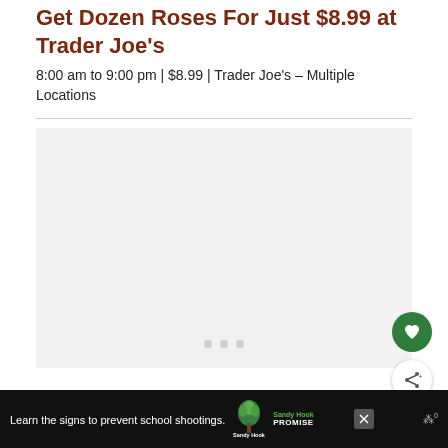Get Dozen Roses For Just $8.99 at Trader Joe's
8:00 am to 9:00 pm | $8.99 | Trader Joe's – Multiple Locations
[Figure (photo): Image placeholder area (light gray box) for product/deal photo, with three pagination dots below it]
Learn the signs to prevent school shootings.